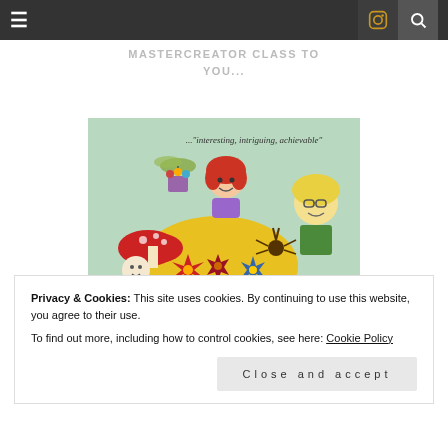MASTERCREATOR CLASS TO YOU...
[Figure (illustration): Colorful illustrated book cover or artwork showing fantasy characters including a red-haired girl, a figure with yellow hair, mushrooms, flowers, and other whimsical elements. Text reads '..."interesting, intriguing, achievable"' at the top. Bottom shows partial text 'A JOURNEY TO FREEDOM' on dark background.]
Privacy & Cookies: This site uses cookies. By continuing to use this website, you agree to their use.
To find out more, including how to control cookies, see here: Cookie Policy
Close and accept